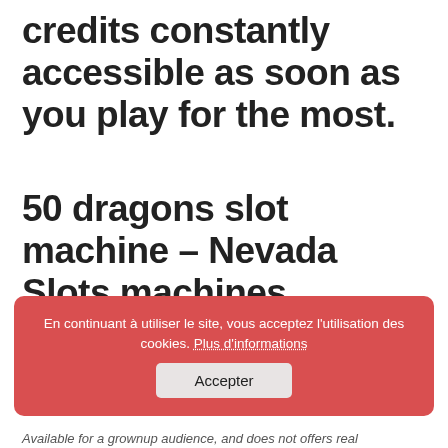credits constantly accessible as soon as you play for the most.
50 dragons slot machine – Nevada Slots machines Gaming
En continuant à utiliser le site, vous acceptez l'utilisation des cookies. Plus d'informations  Accepter
Available for a grownup audience, and does not offers real